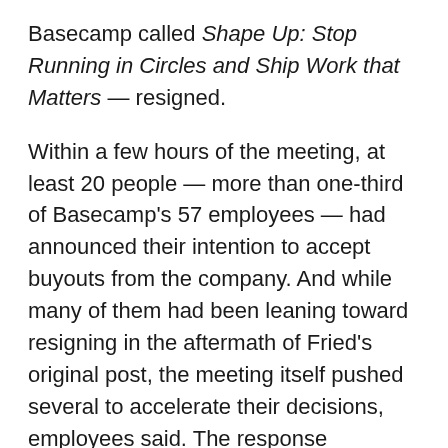Basecamp called Shape Up: Stop Running in Circles and Ship Work that Matters — resigned.
Within a few hours of the meeting, at least 20 people — more than one-third of Basecamp's 57 employees — had announced their intention to accept buyouts from the company. And while many of them had been leaning toward resigning in the aftermath of Fried's original post, the meeting itself pushed several to accelerate their decisions, employees said. The response overwhelmed the founders, who extended the deadline to accept buyouts indefinitely amid an unexpected surge of interest.
This account is based on interviews with six Basecamp employees who were present at the meeting, along with a partial transcript created by employees.